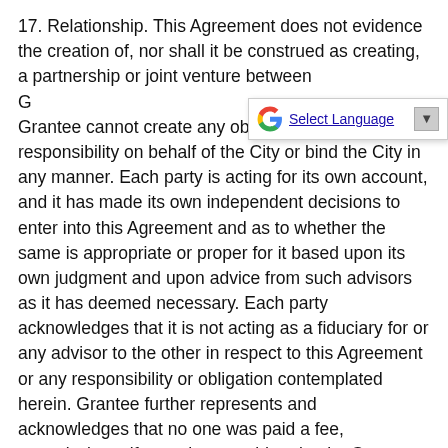17. Relationship. This Agreement does not evidence the creation of, nor shall it be construed as creating, a partnership or joint venture between G... Grantee cannot create any obligation or responsibility on behalf of the City or bind the City in any manner. Each party is acting for its own account, and it has made its own independent decisions to enter into this Agreement and as to whether the same is appropriate or proper for it based upon its own judgment and upon advice from such advisors as it has deemed necessary. Each party acknowledges that it is not acting as a fiduciary for or any advisor to the other in respect to this Agreement or any responsibility or obligation contemplated herein. Grantee further represents and acknowledges that no one was paid a fee, commission, gift, or other consideration by Grantee as an inducement to entering into this Agreement.
18. Personal Liability. No provision of this Agreement is intended, nor shall any be construed, as a covenant of any official (either elected or appointed), director, employee or agent of the City in an individual capacity and neither shall...
[Figure (screenshot): Google Translate 'Select Language' dropdown widget overlay appearing on the page]